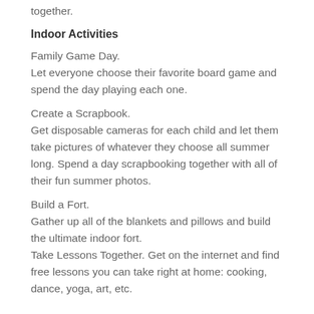together.
Indoor Activities
Family Game Day.
Let everyone choose their favorite board game and spend the day playing each one.
Create a Scrapbook.
Get disposable cameras for each child and let them take pictures of whatever they choose all summer long. Spend a day scrapbooking together with all of their fun summer photos.
Build a Fort.
Gather up all of the blankets and pillows and build the ultimate indoor fort.
Take Lessons Together. Get on the internet and find free lessons you can take right at home: cooking, dance, yoga, art, etc.